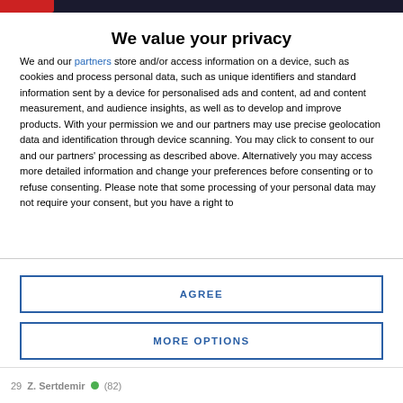We value your privacy
We and our partners store and/or access information on a device, such as cookies and process personal data, such as unique identifiers and standard information sent by a device for personalised ads and content, ad and content measurement, and audience insights, as well as to develop and improve products. With your permission we and our partners may use precise geolocation data and identification through device scanning. You may click to consent to our and our partners' processing as described above. Alternatively you may access more detailed information and change your preferences before consenting or to refuse consenting. Please note that some processing of your personal data may not require your consent, but you have a right to
AGREE
MORE OPTIONS
29  Z. Sertdemir  (82)